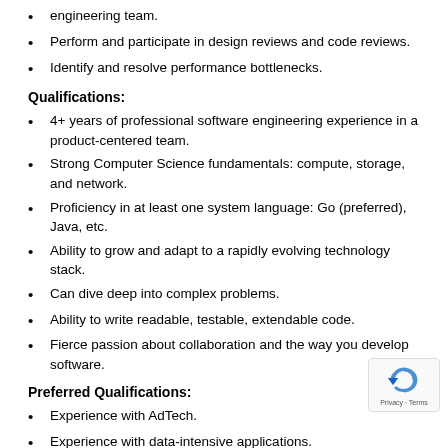engineering team.
Perform and participate in design reviews and code reviews.
Identify and resolve performance bottlenecks.
Qualifications:
4+ years of professional software engineering experience in a product-centered team.
Strong Computer Science fundamentals: compute, storage, and network.
Proficiency in at least one system language: Go (preferred), Java, etc.
Ability to grow and adapt to a rapidly evolving technology stack.
Can dive deep into complex problems.
Ability to write readable, testable, extendable code.
Fierce passion about collaboration and the way you develop software.
Preferred Qualifications:
Experience with AdTech.
Experience with data-intensive applications.
Jane Technologies is proud to be an equal opportunity employer, and